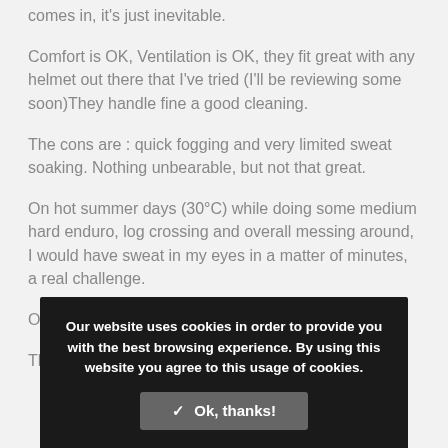comes in, it's just inevitable.
Comfort is OK, Ventilation is OK, they fit great with any helmet out there that I've tried (I'll be reviewing some soon)They handle fine a good cleaning.
The cons are : quick fogging and very limited sweat soaking. Nothing unbearable, but not that great.
On hot summer days (30°C) while doing some medium hard enduro, log crossing and overall messing around, I would have sweat in my eyes in a matter of minutes, a real challenge.
On winter d[obscured by overlay]
The in bet[obscured by overlay]ween is fine.
Our website uses cookies in order to provide you with the best browsing experience. By using this website you agree to this usage of cookies.
✓ Ok, thanks!